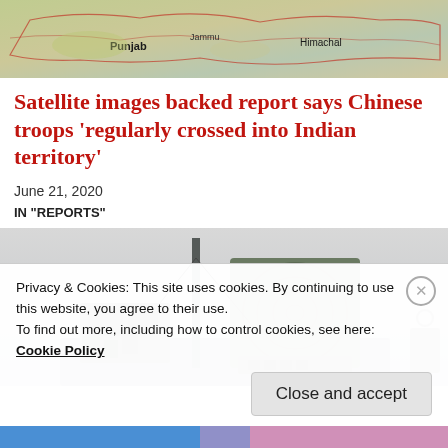[Figure (map): Map showing northern India regions including Punjab, Jammu, Himachal Pradesh and surrounding areas]
Satellite images backed report says Chinese troops 'regularly crossed into Indian territory'
June 21, 2020
IN "REPORTS"
[Figure (photo): Military radar or missile defense system equipment on a vehicle]
Privacy & Cookies: This site uses cookies. By continuing to use this website, you agree to their use.
To find out more, including how to control cookies, see here:
Cookie Policy
Close and accept